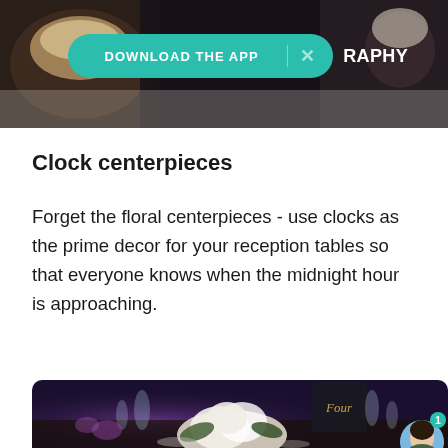[Figure (photo): Top partial image of a food/dessert scene with dark background, partially obscured by a download app banner]
[Figure (screenshot): Download The App banner in teal/turquoise color with an X close button, overlaid on the top image. Partial text 'RAPHY' visible to the right.]
Clock centerpieces
Forget the floral centerpieces - use clocks as the prime decor for your reception tables so that everyone knows when the midnight hour is approaching.
[Figure (photo): Wedding reception table with white floral centerpiece (roses and hydrangeas), purple lighting, glassware, and a chalkboard table number sign reading 'Four' in cursive. A chat avatar icon with badge '1' appears in the bottom right corner.]